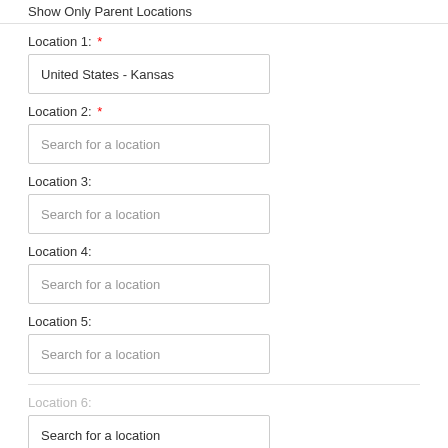Show Only Parent Locations
Location 1: *
United States - Kansas
Location 2: *
Search for a location
Location 3:
Search for a location
Location 4:
Search for a location
Location 5:
Search for a location
Location 6:
Search for a location
Location 7:
Search for a location